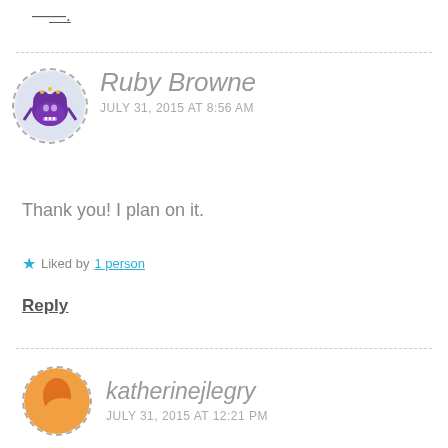—[—.
Ruby Browne
JULY 31, 2015 AT 8:56 AM
Thank you! I plan on it.
★ Liked by 1 person
Reply
katherinejlegry
JULY 31, 2015 AT 12:21 PM